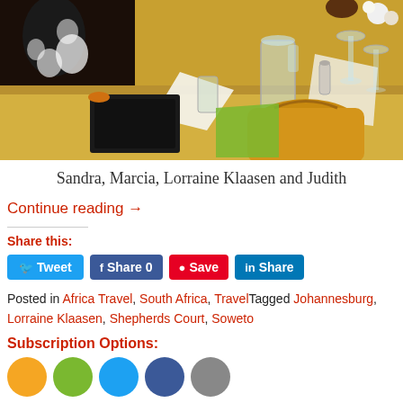[Figure (photo): Photo of women sitting at a banquet table with glasses, pitchers, a yellow/gold tablecloth, and a mustard-colored bag. One woman is wearing a black and white patterned dress.]
Sandra, Marcia, Lorraine Klaasen and Judith
Continue reading →
Share this:
Tweet  Share 0  Save  Share
Posted in Africa Travel, South Africa, TravelTagged Johannesburg, Lorraine Klaasen, Shepherds Court, Soweto
Subscription Options: